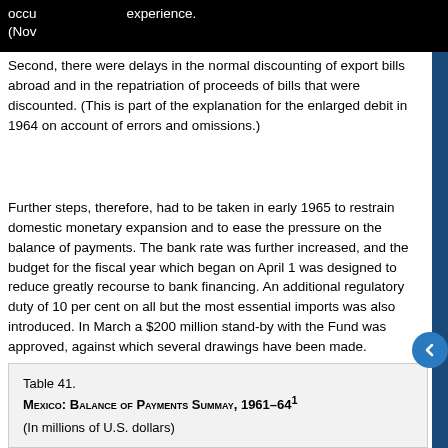occu experience. (Nova Second, there were delays in the normal discounting of export bills abroad and in the repatriation of proceeds of bills that were discounted. (This is part of the explanation for the enlarged debit in 1964 on account of errors and omissions.)
Further steps, therefore, had to be taken in early 1965 to restrain domestic monetary expansion and to ease the pressure on the balance of payments. The bank rate was further increased, and the budget for the fiscal year which began on April 1 was designed to reduce greatly recourse to bank financing. An additional regulatory duty of 10 per cent on all but the most essential imports was also introduced. In March a $200 million stand-by with the Fund was approved, against which several drawings have been made.
Table 41.
Mexico: Balance of Payments Summay, 1961-64¹
(In millions of U.S. dollars)